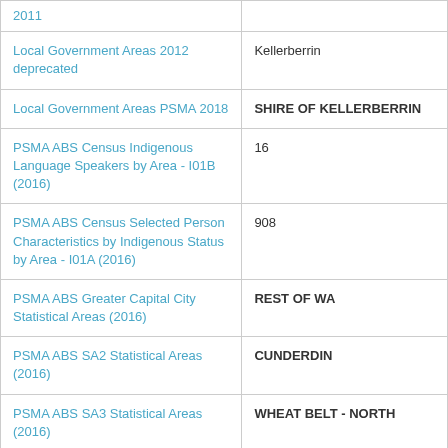| Category | Value |
| --- | --- |
| 2011 |  |
| Local Government Areas 2012 deprecated | Kellerberrin |
| Local Government Areas PSMA 2018 | SHIRE OF KELLERBERRIN |
| PSMA ABS Census Indigenous Language Speakers by Area - I01B (2016) | 16 |
| PSMA ABS Census Selected Person Characteristics by Indigenous Status by Area - I01A (2016) | 908 |
| PSMA ABS Greater Capital City Statistical Areas (2016) | REST OF WA |
| PSMA ABS SA2 Statistical Areas (2016) | CUNDERDIN |
| PSMA ABS SA3 Statistical Areas (2016) | WHEAT BELT - NORTH |